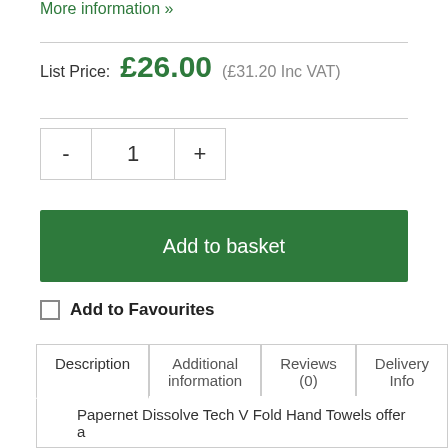More information »
List Price: £26.00 (£31.20 Inc VAT)
- 1 +
Add to basket
Add to Favourites
| Description | Additional information | Reviews (0) | Delivery Info |
| --- | --- | --- | --- |
Papernet Dissolve Tech V Fold Hand Towels offer a super quality FSC certified hand towel. The...